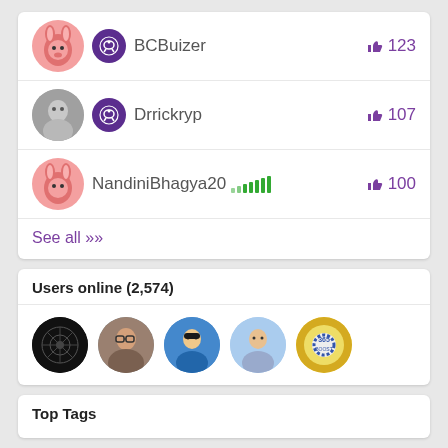BCBuizer 123 likes
Drrickryp 107 likes
NandiniBhagya20 100 likes
See all >>
Users online (2,574)
[Figure (illustration): Row of 5 circular user avatars showing online users]
Top Tags